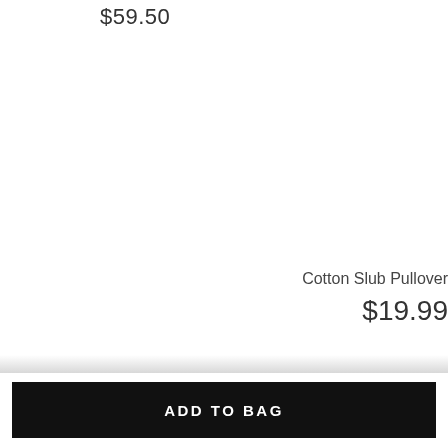$59.50
Cotton Slub Pullover
$19.99
ADD TO BAG